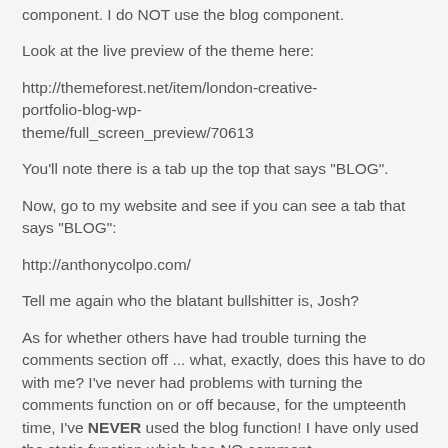component. I do NOT use the blog component.
Look at the live preview of the theme here:
http://themeforest.net/item/london-creative-portfolio-blog-wp-theme/full_screen_preview/70613
You'll note there is a tab up the top that says "BLOG".
Now, go to my website and see if you can see a tab that says "BLOG":
http://anthonycolpo.com/
Tell me again who the blatant bullshitter is, Josh?
As for whether others have had trouble turning the comments section off ... what, exactly, does this have to do with me? I've never had problems with turning the comments function on or off because, for the umpteenth time, I've NEVER used the blog function! I have only used the static function which has NO comment...